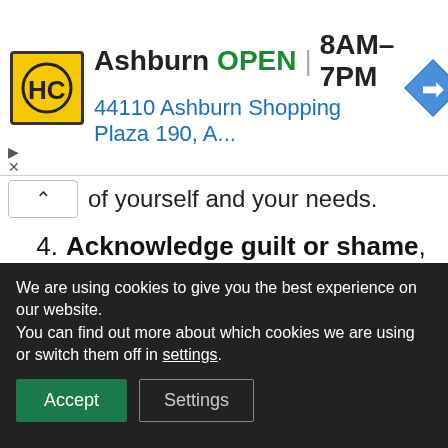[Figure (screenshot): HC hardware/home improvement store ad banner. Logo is yellow square with HC letters. Text: Ashburn OPEN 8AM-7PM, 44110 Ashburn Shopping Plaza 190, A... Blue navigation arrow icon on right.]
of yourself and your needs.
4. Acknowledge guilt or shame, make room for it, write down why it's so tough, talk to other people and then let it go.
But if feelings of shame, guilt (or even
We are using cookies to give you the best experience on our website.
You can find out more about which cookies we are using or switch them off in settings.